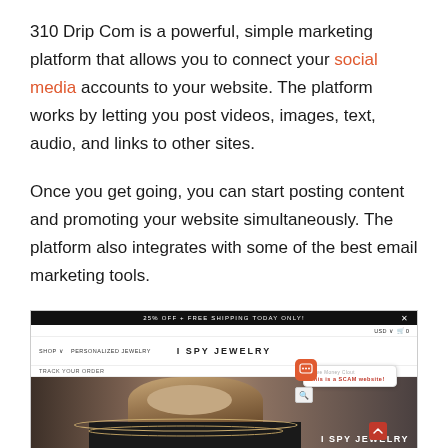310 Drip Com is a powerful, simple marketing platform that allows you to connect your social media accounts to your website. The platform works by letting you post videos, images, text, audio, and links to other sites.
Once you get going, you can start posting content and promoting your website simultaneously. The platform also integrates with some of the best email marketing tools.
[Figure (screenshot): Screenshot of the 'I Spy Jewelry' website showing a black promotional banner at top reading '25% OFF + FREE SHIPPING TODAY ONLY!', a navigation bar with 'SHOP', 'PERSONALIZED JEWELRY', 'I SPY JEWELRY' brand name, a chat widget showing 'This is a SCAM website!' warning popup, and a hero image of a woman wearing chain necklaces with 'I SPY JEWELRY' branding and a red scroll-to-top button.]